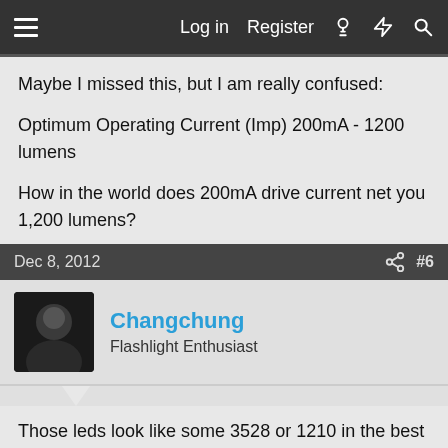≡  Log in  Register  [icons]
Maybe I missed this, but I am really confused:

Optimum Operating Current (Imp) 200mA - 1200 lumens

How in the world does 200mA drive current net you 1,200 lumens?
Dec 8, 2012  #6
Changchung
Flashlight Enthusiast
Those leds look like some 3528 or 1210 in the best of the case 5050, is imposible that 10 of this leds give 1200 lumen
Sent from my phone with camera with flash and internet at